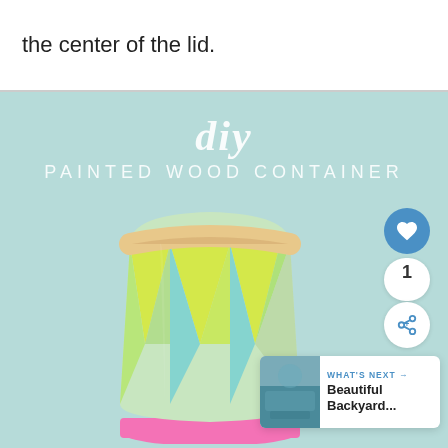the center of the lid.
[Figure (photo): DIY Painted Wood Container: a light teal background with script 'diy' text and subtitle 'PAINTED WOOD CONTAINER', showing a geometric pattern wooden container painted with yellow-green triangle shapes on a mint/teal base, sitting on a pink platform. UI elements include a heart button showing count 1 and a share button. A 'What's Next' card shows 'Beautiful Backyard...']